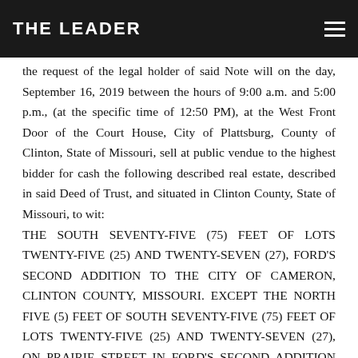THE LEADER
the request of the legal holder of said Note will on the day, September 16, 2019 between the hours of 9:00 a.m. and 5:00 p.m., (at the specific time of 12:50 PM), at the West Front Door of the Court House, City of Plattsburg, County of Clinton, State of Missouri, sell at public vendue to the highest bidder for cash the following described real estate, described in said Deed of Trust, and situated in Clinton County, State of Missouri, to wit:
THE SOUTH SEVENTY-FIVE (75) FEET OF LOTS TWENTY-FIVE (25) AND TWENTY-SEVEN (27), FORD'S SECOND ADDITION TO THE CITY OF CAMERON, CLINTON COUNTY, MISSOURI. EXCEPT THE NORTH FIVE (5) FEET OF SOUTH SEVENTY-FIVE (75) FEET OF LOTS TWENTY-FIVE (25) AND TWENTY-SEVEN (27), ON PRAIRIE STREET IN FORD'S SECOND ADDITION TO THE